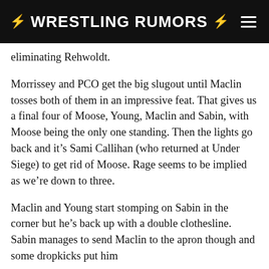⚡ WRESTLING RUMORS ⚡
eliminating Rehwoldt.
Morrissey and PCO get the big slugout until Maclin tosses both of them in an impressive feat. That gives us a final four of Moose, Young, Maclin and Sabin, with Moose being the only one standing. Then the lights go back and it's Sami Callihan (who returned at Under Siege) to get rid of Moose. Rage seems to be implied as we're down to three.
Maclin and Young start stomping on Sabin in the corner but he's back up with a double clothesline. Sabin manages to send Maclin to the apron though and some dropkicks put him